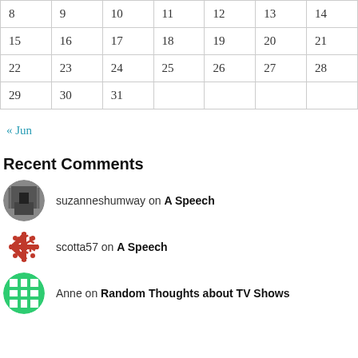| 8 | 9 | 10 | 11 | 12 | 13 | 14 |
| 15 | 16 | 17 | 18 | 19 | 20 | 21 |
| 22 | 23 | 24 | 25 | 26 | 27 | 28 |
| 29 | 30 | 31 |  |  |  |  |
« Jun
Recent Comments
suzanneshumway on A Speech
scotta57 on A Speech
Anne on Random Thoughts about TV Shows